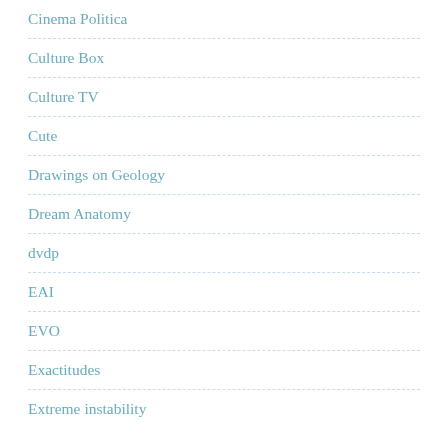Cinema Politica
Culture Box
Culture TV
Cute
Drawings on Geology
Dream Anatomy
dvdp
EAI
EVO
Exactitudes
Extreme instability